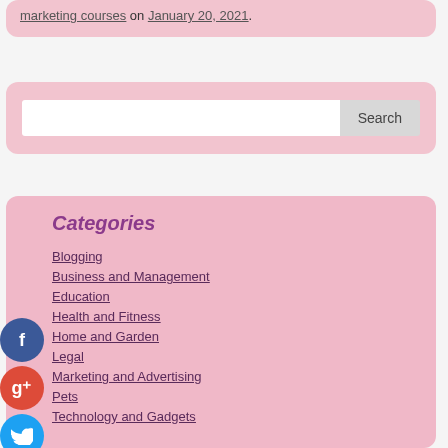marketing courses on January 20, 2021.
Search
Categories
Blogging
Business and Management
Education
Health and Fitness
Home and Garden
Legal
Marketing and Advertising
Pets
Technology and Gadgets